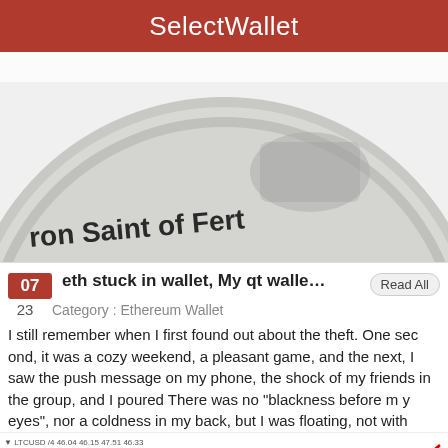SelectWallet
[Figure (photo): Close-up photo of a silver coin with text 'ron Saint of Fert' visible on its edge]
07  eth stuck in wallet, My qt walle…  Read All
23  Category : Ethereum Wallet
I still remember when I first found out about the theft. One second, it was a cozy weekend, a pleasant game, and the next, I saw the push message on my phone, the shock of my friends in the group, and I poured There was no "blackness before my eyes", nor a coldness in my back, but I was floating, not with
[Figure (screenshot): Screenshot of BYMARKETS.COM trading chart website with label '9097-eth-stuck-in-wallet.png' and a red upward trending arrow chart]